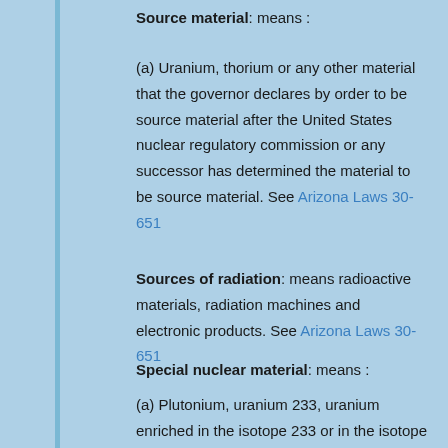Source material: means :
(a) Uranium, thorium or any other material that the governor declares by order to be source material after the United States nuclear regulatory commission or any successor has determined the material to be source material. See Arizona Laws 30-651
Sources of radiation: means radioactive materials, radiation machines and electronic products. See Arizona Laws 30-651
Special nuclear material: means :
(a) Plutonium, uranium 233, uranium enriched in the isotope 233 or in the isotope 235 and any other material that the governor declares by order to be special nuclear